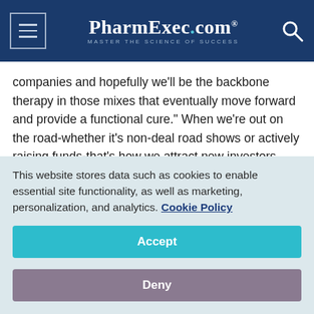PharmExec.com — MASTER THE SCIENCE OF SUCCESS
companies and hopefully we'll be the backbone therapy in those mixes that eventually move forward and provide a functional cure." When we're out on the road-whether it's non-deal road shows or actively raising funds-that's how we attract new investors. And if we can't communicate that story effectively, we're not going to be able to bring in the additional funds necessary.
Similarly, with existing investors, we have to continue to keep
This website stores data such as cookies to enable essential site functionality, as well as marketing, personalization, and analytics. Cookie Policy
Accept
Deny